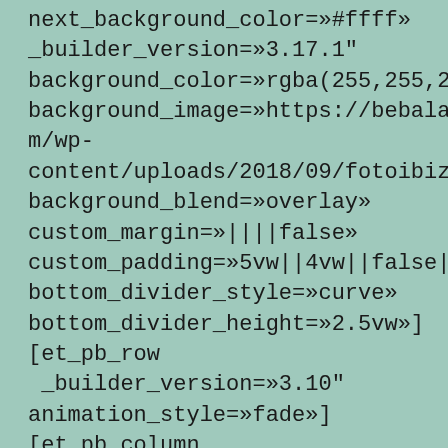next_background_color=»#ffff» _builder_version=»3.17.1" background_color=»rgba(255,255,255,0.8)» background_image=»https://bebalancealicia.com/wp-content/uploads/2018/09/fotoibiza.jpg» background_blend=»overlay» custom_margin=»||||false» custom_padding=»5vw||4vw||false|false» bottom_divider_style=»curve» bottom_divider_height=»2.5vw»][et_pb_row _builder_version=»3.10" animation_style=»fade»][et_pb_column type=»4_4" _builder_version=»3.10" parallax=»off» parallax_method=»on»]